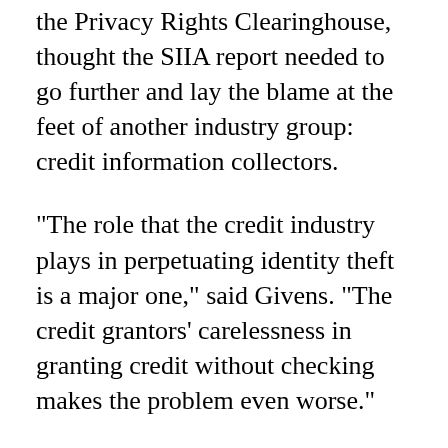the Privacy Rights Clearinghouse, thought the SIIA report needed to go further and lay the blame at the feet of another industry group: credit information collectors.
"The role that the credit industry plays in perpetuating identity theft is a major one," said Givens. "The credit grantors' carelessness in granting credit without checking makes the problem even worse."
Identity theft has become an increasing problem.
The first day that the FBI opened up its Fraud Complaint Centre it received 500 complaints of Internet fraud. Meanwhile, the Social Security